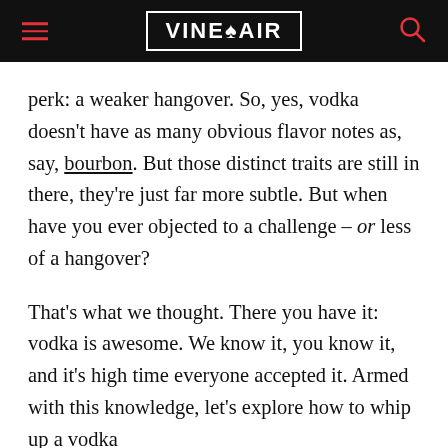VINEPAIR
perk: a weaker hangover. So, yes, vodka doesn’t have as many obvious flavor notes as, say, bourbon. But those distinct traits are still in there, they’re just far more subtle. But when have you ever objected to a challenge – or less of a hangover?
That’s what we thought. There you have it: vodka is awesome. We know it, you know it, and it’s high time everyone accepted it. Armed with this knowledge, let’s explore how to whip up a vodka